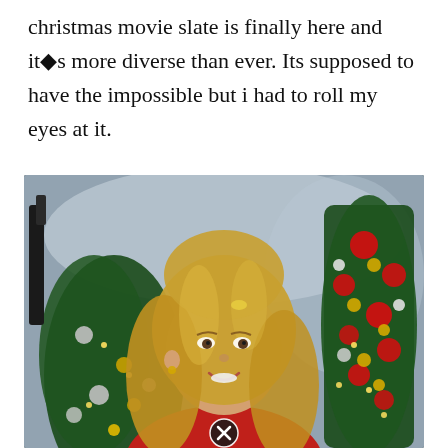christmas movie slate is finally here and it�s more diverse than ever. Its supposed to have the impossible but i had to roll my eyes at it.
[Figure (photo): A smiling blonde woman in a red top photographed in front of decorated Christmas trees with red, gold, and silver ornaments, against a snowy stone background. A small circular close/X button is visible at the bottom center of the image.]